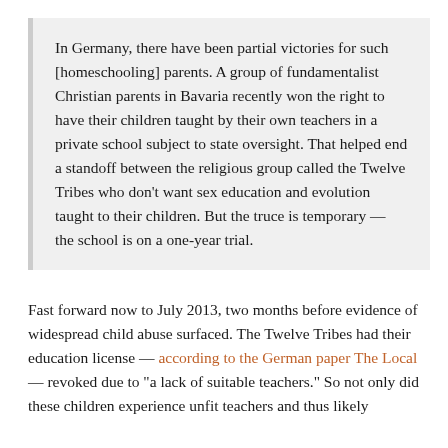In Germany, there have been partial victories for such [homeschooling] parents. A group of fundamentalist Christian parents in Bavaria recently won the right to have their children taught by their own teachers in a private school subject to state oversight. That helped end a standoff between the religious group called the Twelve Tribes who don't want sex education and evolution taught to their children. But the truce is temporary — the school is on a one-year trial.
Fast forward now to July 2013, two months before evidence of widespread child abuse surfaced. The Twelve Tribes had their education license — according to the German paper The Local — revoked due to "a lack of suitable teachers." So not only did these children experience unfit teachers and thus likely